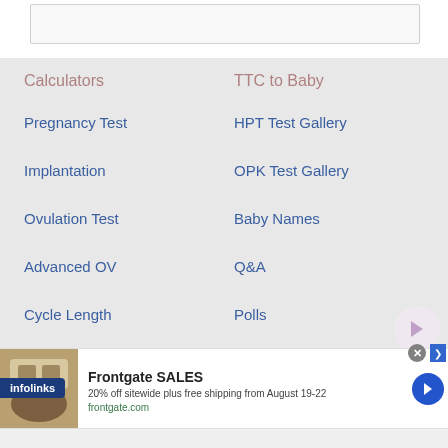[Figure (screenshot): Top white area with a light gray bordered box]
Calculators
TTC to Baby
Pregnancy Test
HPT Test Gallery
Implantation
OPK Test Gallery
Ovulation Test
Baby Names
Advanced OV
Q&A
Cycle Length
Polls
Quizzes
[Figure (screenshot): Frontgate SALES advertisement banner: '20% off sitewide plus free shipping from August 19-22', frontgate.com, with product image and arrow button]